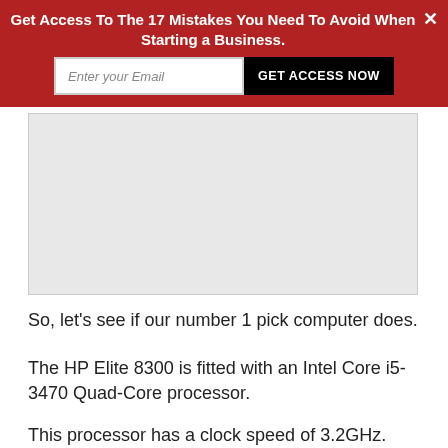Get Access To The 17 Mistakes You Need To Avoid When Starting a Business.
[Figure (screenshot): Email signup banner with text input field 'Enter your Email' and black button 'GET ACCESS NOW', red background, with X close button]
[Figure (other): Gray advertisement/image placeholder box]
So, let’s see if our number 1 pick computer does.
The HP Elite 8300 is fitted with an Intel Core i5-3470 Quad-Core processor.
This processor has a clock speed of 3.2GHz.